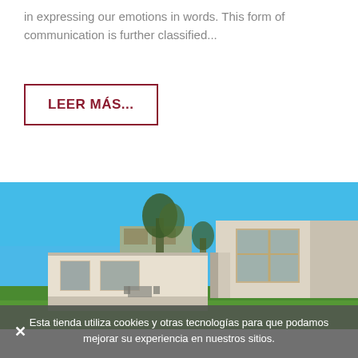in expressing our emotions in words. This form of communication is further classified...
LEER MÁS...
[Figure (photo): Modern minimalist house with concrete and glass facade, wooden window frames, green lawn, trees, and blue sky in background]
Esta tienda utiliza cookies y otras tecnologías para que podamos mejorar su experiencia en nuestros sitios.